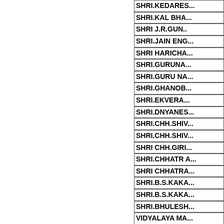SHRI.KEDARES...
SHRI.KAL BHA...
SHRI J.R.GUN...
SHRI.JAIN ENG...
SHRI HARICHA...
SHRI.GURUNA...
SHRI.GURU NA...
SHRI.GHANOB...
SHRI.EKVERA...
SHRI.DNYANES...
SHRI.CHH.SHIV...
SHRI.CHH.SHIV...
SHRI CHH.GIRI...
SHRI.CHHATR A...
SHRI CHHATRA...
SHRI.B.S.KAKA...
SHRI.B.S.KAKA...
SHRI.BHULESH...
VIDYALAYA MA...